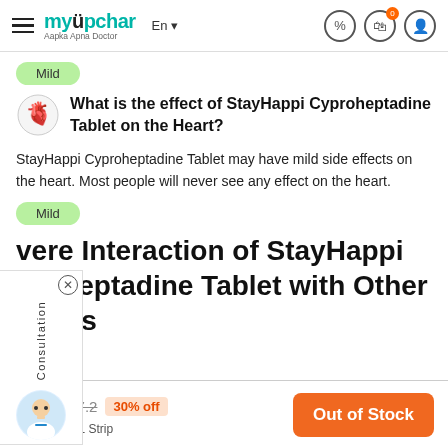myUpchar - Aapka Apna Doctor
Mild
What is the effect of StayHappi Cyproheptadine Tablet on the Heart?
StayHappi Cyproheptadine Tablet may have mild side effects on the heart. Most people will never see any effect on the heart.
Mild
Severe Interaction of StayHappi Cyproheptadine Tablet with Other Drugs
₹5.1  ₹7.2  30% off
10 Tablet in 1 Strip